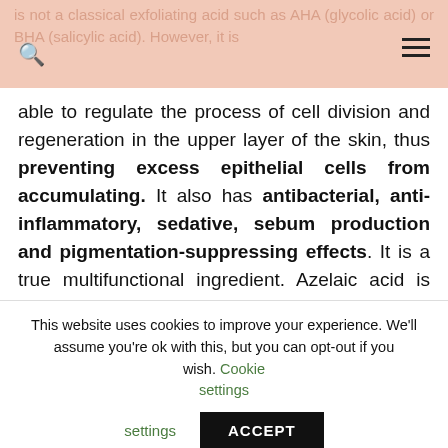is not a classical exfoliating acid such as AHA (glycolic acid) or BHA (salicylic acid). However, it is
able to regulate the process of cell division and regeneration in the upper layer of the skin, thus preventing excess epithelial cells from accumulating. It also has antibacterial, anti-inflammatory, sedative, sebum production and pigmentation-suppressing effects. It is a true multifunctional ingredient. Azelaic acid is mostly found in prescription formulations, but it is also available in non- prescription form.
CHANGE YOUR LIFESTYLE!
This website uses cookies to improve your experience. We'll assume you're ok with this, but you can opt-out if you wish. Cookie settings ACCEPT